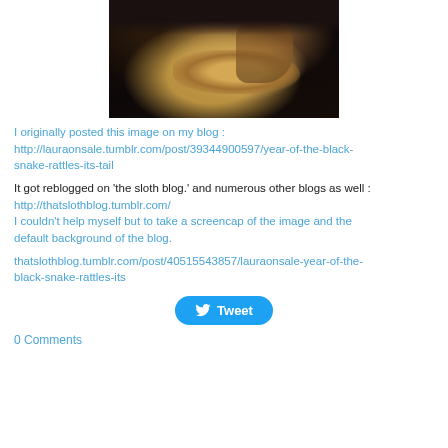[Figure (photo): A painting fragment showing hands, possibly Renaissance-style, with dark background and feathered details. Cropped view showing clasped or folded hands with golden tones against a dark background.]
I originally posted this image on my blog : http://lauraonsale.tumblr.com/post/39344900597/year-of-the-black-snake-rattles-its-tail
It got reblogged on 'the sloth blog.' and numerous other blogs as well : http://thatslothblog.tumblr.com/ I couldn't help myself but to take a screencap of the image and the default background of the blog.
thatslothblog.tumblr.com/post/40515543857/lauraonsale-year-of-the-black-snake-rattles-its
[Figure (other): Tweet button]
0 Comments